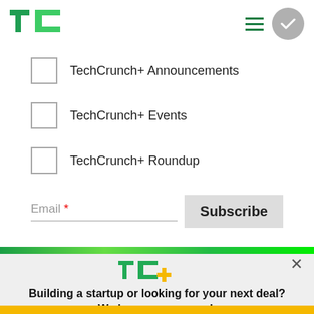[Figure (logo): TechCrunch TC green logo in top left header]
TechCrunch+ Announcements
TechCrunch+ Events
TechCrunch+ Roundup
Email *
Subscribe
[Figure (logo): TC+ logo in green and yellow inside modal popup]
Building a startup or looking for your next deal? We have you covered.
EXPLORE NOW